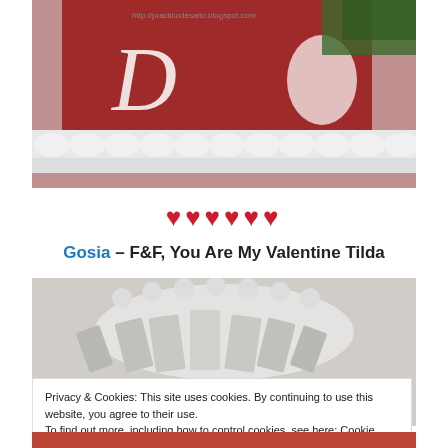[Figure (photo): Close-up of a handmade Valentine card with red floral pattern, white decorative border, white ornamental elements, and greenery in top right corner]
♥♥♥♥♥♥
Gosia – F&F, You Are My Valentine Tilda
[Figure (photo): Close-up of a decorative white embossed ornament or card element on a light grey background]
Privacy & Cookies: This site uses cookies. By continuing to use this website, you agree to their use.
To find out more, including how to control cookies, see here: Cookie Policy
Close and accept
[Figure (photo): Bottom strip showing part of a red and white illustrated scene]